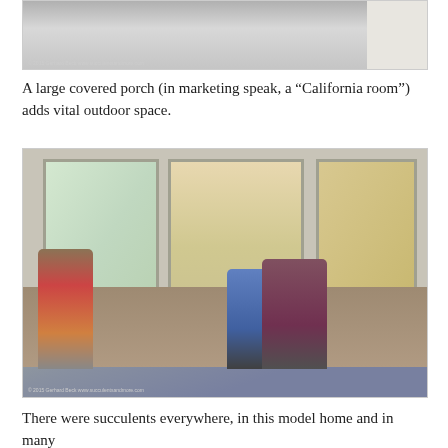[Figure (photo): Top portion of a photo showing a window with curtains, partial view of a room interior]
A large covered porch (in marketing speak, a “California room”) adds vital outdoor space.
[Figure (photo): Interior photo of a model home showing large sliding glass doors opening to a patio/outdoor area. Several people are visible inside the room. A woman in red on the left, a man in blue shirt standing, and another person leaning over a counter on the right. The room has hardwood floors and white curtains.]
There were succulents everywhere, in this model home and in many